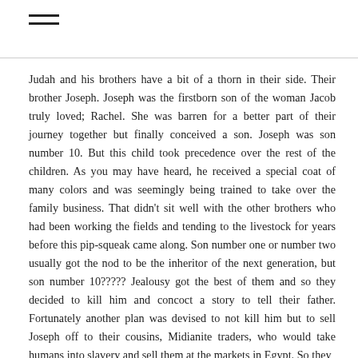≡
Judah and his brothers have a bit of a thorn in their side. Their brother Joseph. Joseph was the firstborn son of the woman Jacob truly loved; Rachel. She was barren for a better part of their journey together but finally conceived a son. Joseph was son number 10. But this child took precedence over the rest of the children. As you may have heard, he received a special coat of many colors and was seemingly being trained to take over the family business. That didn't sit well with the other brothers who had been working the fields and tending to the livestock for years before this pip-squeak came along. Son number one or number two usually got the nod to be the inheritor of the next generation, but son number 10????? Jealousy got the best of them and so they decided to kill him and concoct a story to tell their father. Fortunately another plan was devised to not kill him but to sell Joseph off to their cousins, Midianite traders, who would take humans into slavery and sell them at the markets in Egypt. So they